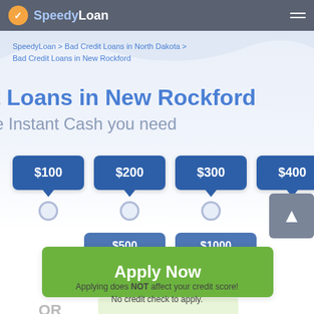SpeedyLoan
SpeedyLoan > Bad Credit Loans in North Dakota > Bad Credit Loans in New Rockford
t Loans in New Rockford
e Instant Cash you need
[Figure (infographic): Four loan amount buttons: $100, $200, $300, $400 with radio buttons below, and partially visible $500 and $1000 buttons]
Apply Now
Applying does NOT affect your credit score! No credit check to apply.
OR